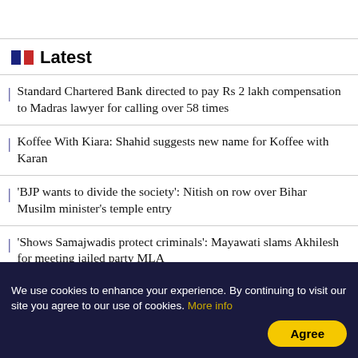Latest
Standard Chartered Bank directed to pay Rs 2 lakh compensation to Madras lawyer for calling over 58 times
Koffee With Kiara: Shahid suggests new name for Koffee with Karan
'BJP wants to divide the society': Nitish on row over Bihar Musilm minister's temple entry
'Shows Samajwadis protect criminals': Mayawati slams Akhilesh for meeting jailed party MLA
Double podium finish for India in IBSF World Junior...
We use cookies to enhance your experience. By continuing to visit our site you agree to our use of cookies. More info